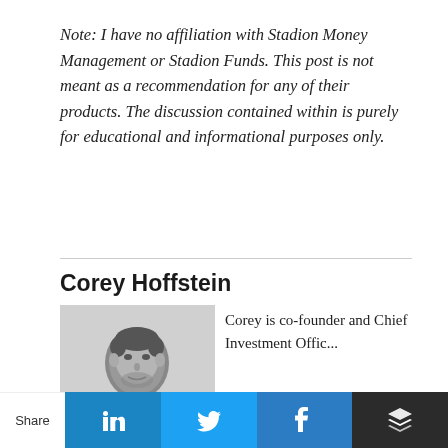Note: I have no affiliation with Stadion Money Management or Stadion Funds. This post is not meant as a recommendation for any of their products. The discussion contained within is purely for educational and informational purposes only.
Corey Hoffstein
[Figure (photo): Black and white portrait photo of Corey Hoffstein, a man in a suit.]
Corey is co-founder and Chief Investment Offic...
Share  [LinkedIn] [Twitter] [Facebook] [Buffer]